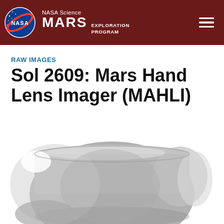NASA Science MARS EXPLORATION PROGRAM
RAW IMAGES
Sol 2609: Mars Hand Lens Imager (MAHLI)
[Figure (photo): Grayscale close-up image of a Martian rock surface captured by the Mars Hand Lens Imager (MAHLI). The rock appears rounded and smooth, filling most of the frame, with a white/bright background and soft shadow effects.]